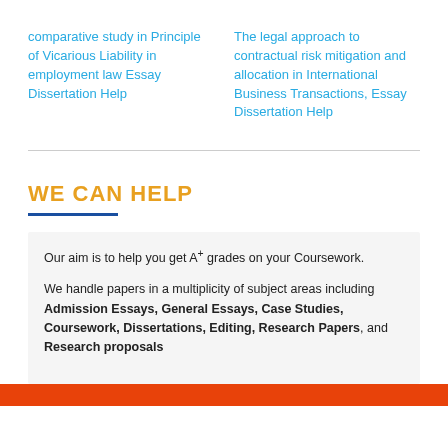comparative study in Principle of Vicarious Liability in employment law Essay Dissertation Help
The legal approach to contractual risk mitigation and allocation in International Business Transactions, Essay Dissertation Help
WE CAN HELP
Our aim is to help you get A+ grades on your Coursework.
We handle papers in a multiplicity of subject areas including Admission Essays, General Essays, Case Studies, Coursework, Dissertations, Editing, Research Papers, and Research proposals